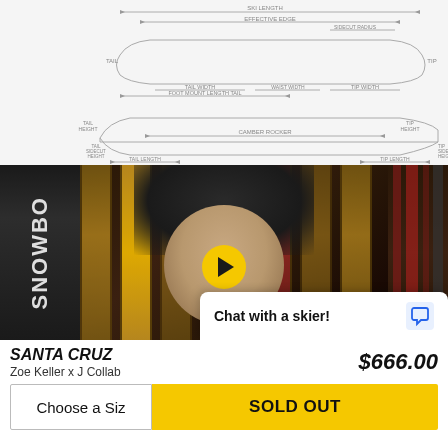[Figure (schematic): Ski/snowboard technical diagram showing top view and side profile view with labeled dimensions: SKI LENGTH, EFFECTIVE EDGE, SIDECUT RADIUS, TAIL WIDTH, WAIST WIDTH, TIP WIDTH, TAIL, TIP, FOOT MOUNT LENGTH TAIL, TAIL HEIGHT, CAMBER ROCKER, TIP HEIGHT, TAIL SIDECUT HEIGHT, TAIL LENGTH, TIP LENGTH, TIP SIDECUT HEIGHT]
[Figure (photo): Video thumbnail showing a man in a black hat speaking in front of ski/snowboard rack, with a yellow play button overlay. A chat bubble says 'Chat with a skier!' with a blue chat icon.]
SANTA CRUZ
Zoe Keller x J Collab
$666.00
Choose a Siz
SOLD OUT